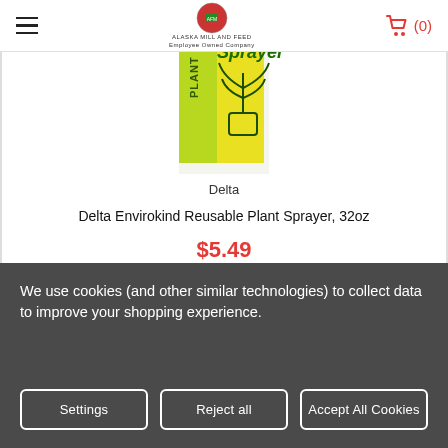Alaska Mill and Feed — Employee Owned Company
[Figure (photo): Product photo of Delta Envirokind Reusable Plant Sprayer 32oz bottle with green and yellow label showing a potted plant]
Delta
Delta Envirokind Reusable Plant Sprayer, 32oz
$5.49
We use cookies (and other similar technologies) to collect data to improve your shopping experience.
Settings
Reject all
Accept All Cookies